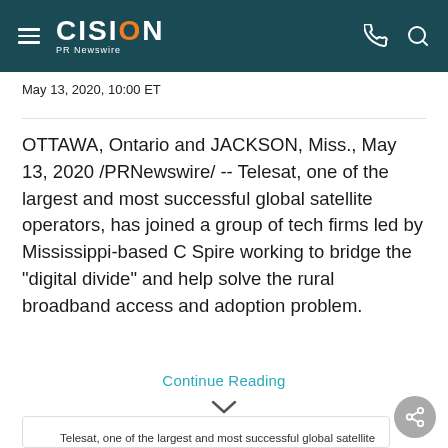CISION PR Newswire
May 13, 2020, 10:00 ET
OTTAWA, Ontario and JACKSON, Miss., May 13, 2020 /PRNewswire/ -- Telesat, one of the largest and most successful global satellite operators, has joined a group of tech firms led by Mississippi-based C Spire working to bridge the "digital divide" and help solve the rural broadband access and adoption problem.
Continue Reading
Telesat, one of the largest and most successful global satellite